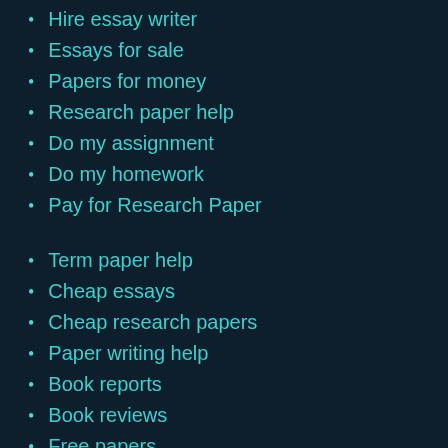Hire essay writer
Essays for sale
Papers for money
Research paper help
Do my assignment
Do my homework
Pay for Research Paper
Term paper help
Cheap essays
Cheap research papers
Paper writing help
Book reports
Book reviews
Free papers
Buy assignment